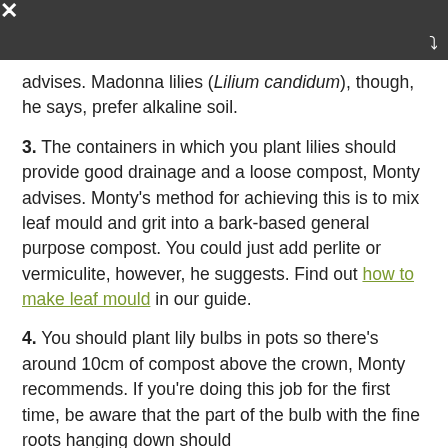[dark bar with close/expand controls]
advises. Madonna lilies (Lilium candidum), though, he says, prefer alkaline soil.
3. The containers in which you plant lilies should provide good drainage and a loose compost, Monty advises. Monty's method for achieving this is to mix leaf mould and grit into a bark-based general purpose compost. You could just add perlite or vermiculite, however, he suggests. Find out how to make leaf mould in our guide.
4. You should plant lily bulbs in pots so there's around 10cm of compost above the crown, Monty recommends. If you're doing this job for the first time, be aware that the part of the bulb with the fine roots hanging down should face down.